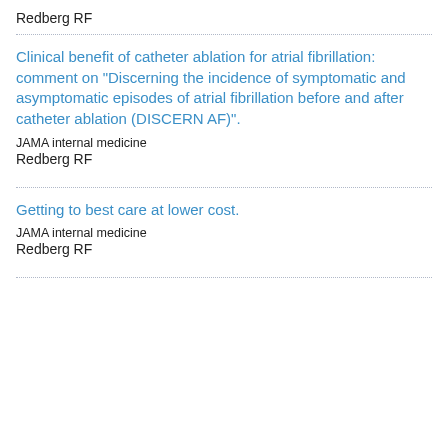Redberg RF
Clinical benefit of catheter ablation for atrial fibrillation: comment on "Discerning the incidence of symptomatic and asymptomatic episodes of atrial fibrillation before and after catheter ablation (DISCERN AF)".
JAMA internal medicine
Redberg RF
Getting to best care at lower cost.
JAMA internal medicine
Redberg RF